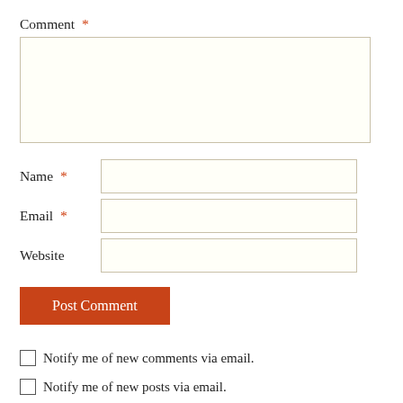Comment *
[Figure (other): Empty comment textarea input box]
Name *
[Figure (other): Empty name text input box]
Email *
[Figure (other): Empty email text input box]
Website
[Figure (other): Empty website text input box]
Post Comment
Notify me of new comments via email.
Notify me of new posts via email.